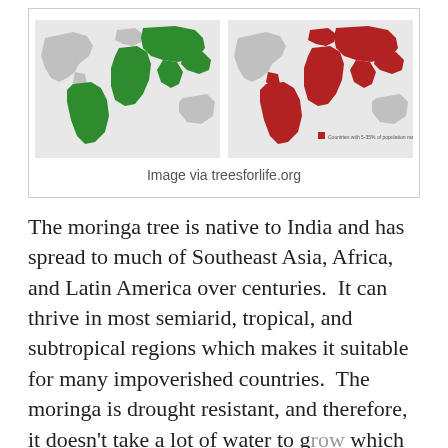[Figure (map): Two world maps side by side: left map shows moringa-growing regions highlighted in green (South America, Africa, South/Southeast Asia, Australia); right map shows countries with high malnutrition highlighted in red. Small legend text on right map reads 'Countries with 5-35% of population malnourished'.]
Image via treesforlife.org
The moringa tree is native to India and has spread to much of Southeast Asia, Africa, and Latin America over centuries.  It can thrive in most semiarid, tropical, and subtropical regions which makes it suitable for many impoverished countries.  The moringa is drought resistant, and therefore, it doesn't take a lot of water to grow which makes it perfect for those who lack abundant water.  Moringa also grows very fast